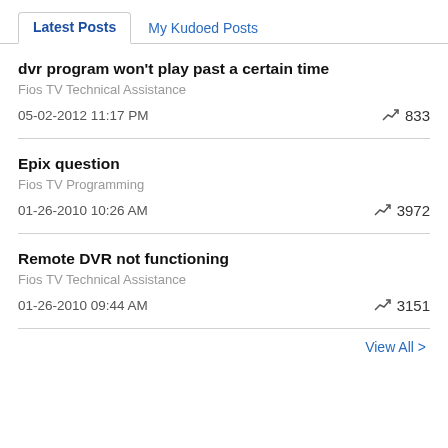Latest Posts | My Kudoed Posts
dvr program won't play past a certain time
Fios TV Technical Assistance
05-02-2012 11:17 PM
833
Epix question
Fios TV Programming
01-26-2010 10:26 AM
3972
Remote DVR not functioning
Fios TV Technical Assistance
01-26-2010 09:44 AM
3151
View All >